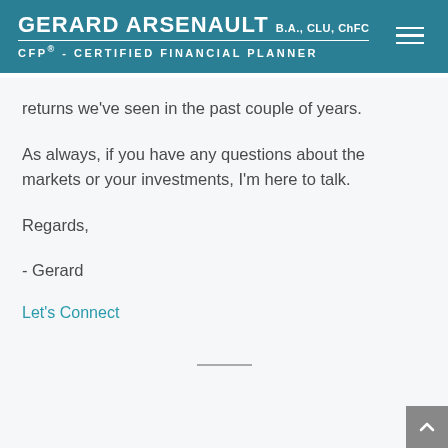GERARD ARSENAULT B.A., CLU, ChFC CFP® - CERTIFIED FINANCIAL PLANNER
returns we've seen in the past couple of years.
As always, if you have any questions about the markets or your investments, I'm here to talk.
Regards,
- Gerard
Let's Connect